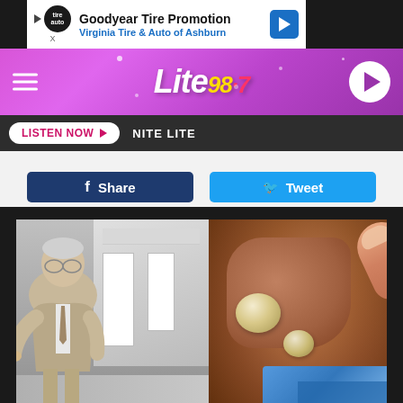[Figure (screenshot): Advertisement banner for Goodyear Tire Promotion, Virginia Tire & Auto of Ashburn]
[Figure (logo): Lite 98.7 radio station header with pink/purple gradient background, hamburger menu, logo, and play button]
LISTEN NOW  NITE LITE
Share   Tweet
[Figure (photo): Split image: left side shows an older doctor in suit pointing at something in a medical setting hallway; right side shows a close-up of what appears to be ear or skin with cysts being examined]